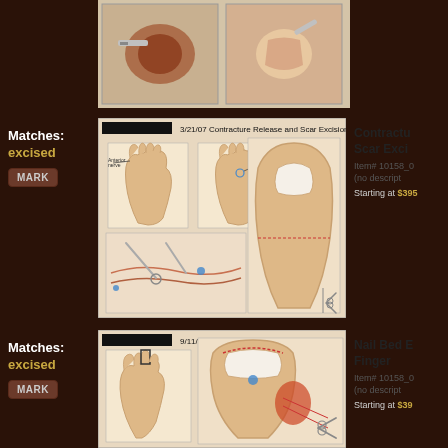[Figure (illustration): Medical surgical illustration (partially visible) showing two procedure panels]
Matches:
excised
[Figure (illustration): 3/21/07 Contracture Release and Scar Excision - medical illustration showing hand contracture release procedure with multiple panels]
Contracture Release and Scar Excision Item# 10158_0 (no description) Starting at $395
Matches:
excised
[Figure (illustration): 9/11/06 Nail Bed Excision on Index Finger - medical illustration showing nail bed excision procedure]
Nail Bed Excision on Index Finger Item# 10158_0 (no description) Starting at $395